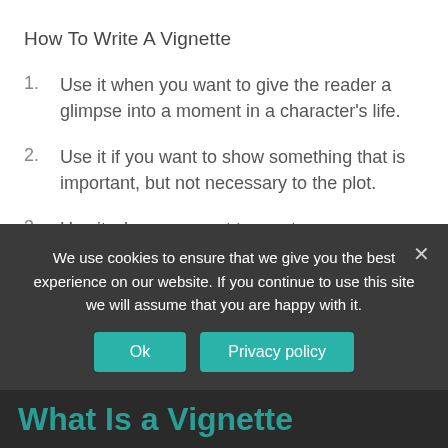How To Write A Vignette
Use it when you want to give the reader a glimpse into a moment in a character's life.
Use it if you want to show something that is important, but not necessary to the plot.
Use it when you want to create an atmosphere around a place or a character.
Be descriptive.
We use cookies to ensure that we give you the best experience on our website. If you continue to use this site we will assume that you are happy with it.
Ok | Privacy policy